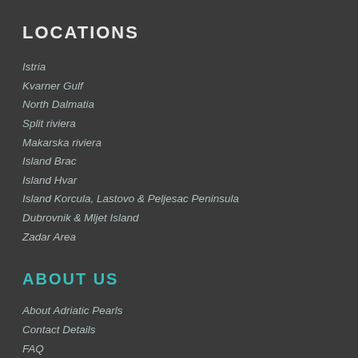LOCATIONS
Istria
Kvarner Gulf
North Dalmatia
Split riviera
Makarska riviera
Island Brac
Island Hvar
Island Korcula, Lastovo & Peljesac Peninsula
Dubrovnik & Mljet Island
Zadar Area
ABOUT US
About Adriatic Pearls
Contact Details
FAQ
Blog
General terms and conditions